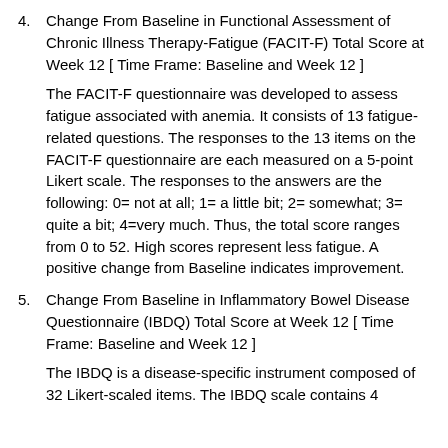4. Change From Baseline in Functional Assessment of Chronic Illness Therapy-Fatigue (FACIT-F) Total Score at Week 12 [ Time Frame: Baseline and Week 12 ]
The FACIT-F questionnaire was developed to assess fatigue associated with anemia. It consists of 13 fatigue-related questions. The responses to the 13 items on the FACIT-F questionnaire are each measured on a 5-point Likert scale. The responses to the answers are the following: 0= not at all; 1= a little bit; 2= somewhat; 3= quite a bit; 4=very much. Thus, the total score ranges from 0 to 52. High scores represent less fatigue. A positive change from Baseline indicates improvement.
5. Change From Baseline in Inflammatory Bowel Disease Questionnaire (IBDQ) Total Score at Week 12 [ Time Frame: Baseline and Week 12 ]
The IBDQ is a disease-specific instrument composed of 32 Likert-scaled items. The IBDQ scale contains 4